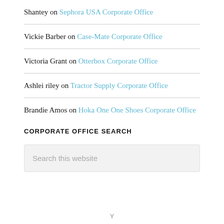Shantey on Sephora USA Corporate Office
Vickie Barber on Case-Mate Corporate Office
Victoria Grant on Otterbox Corporate Office
Ashlei riley on Tractor Supply Corporate Office
Brandie Amos on Hoka One One Shoes Corporate Office
CORPORATE OFFICE SEARCH
Search this website
Y